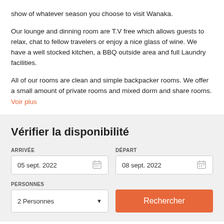show of whatever season you choose to visit Wanaka.
Our lounge and dinning room are T.V free which allows guests to relax, chat to fellow travelers or enjoy a nice glass of wine. We have a well stocked kitchen, a BBQ outside area and full Laundry facilities.
All of our rooms are clean and simple backpacker rooms. We offer a small amount of private rooms and mixed dorm and share rooms.
Voir plus
Vérifier la disponibilité
ARRIVÉE
05 sept. 2022
DÉPART
08 sept. 2022
PERSONNES
2 Personnes
Rechercher